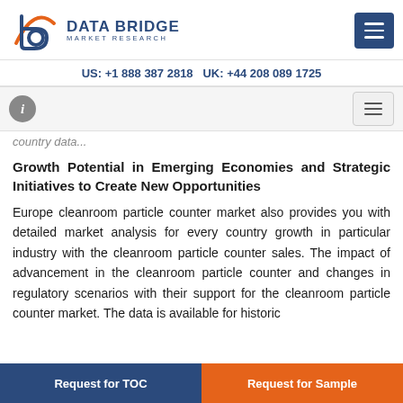[Figure (logo): Data Bridge Market Research logo with orange and blue stylized 'b' icon and text]
US: +1 888 387 2818 UK: +44 208 089 1725
Growth Potential in Emerging Economies and Strategic Initiatives to Create New Opportunities
Europe cleanroom particle counter market also provides you with detailed market analysis for every country growth in particular industry with the cleanroom particle counter sales. The impact of advancement in the cleanroom particle counter and changes in regulatory scenarios with their support for the cleanroom particle counter market. The data is available for historic